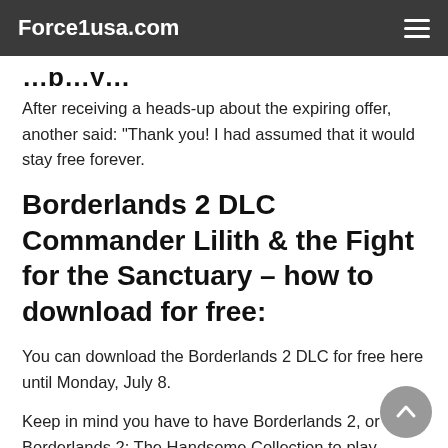Force1usa.com
After receiving a heads-up about the expiring offer, another said: "Thank you! I had assumed that it would stay free forever.
Borderlands 2 DLC Commander Lilith & the Fight for the Sanctuary – how to download for free:
You can download the Borderlands 2 DLC for free here until Monday, July 8.
Keep in mind you have to have Borderlands 2, or Borderlands 2: The Handsome Collection to play.
A post on the Borderlands website read: "Announced during today's Microsoft Xbox E3 2019 Briefing, Commander Lilith &